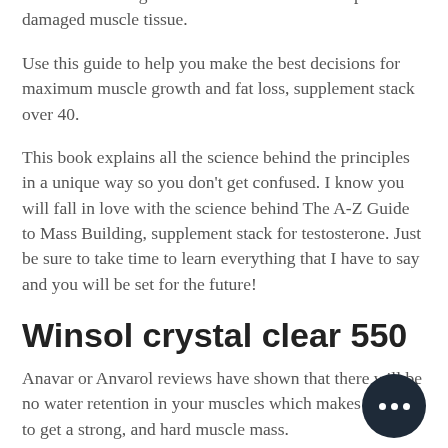acids it needs to grow new muscle tissue and repair damaged muscle tissue.
Use this guide to help you make the best decisions for maximum muscle growth and fat loss, supplement stack over 40.
This book explains all the science behind the principles in a unique way so you don't get confused. I know you will fall in love with the science behind The A-Z Guide to Mass Building, supplement stack for testosterone. Just be sure to take time to learn everything that I have to say and you will be set for the future!
Winsol crystal clear 550
Anavar or Anvarol reviews have shown that there will be no water retention in your muscles which makes it hard to get a strong, and hard muscle mass.